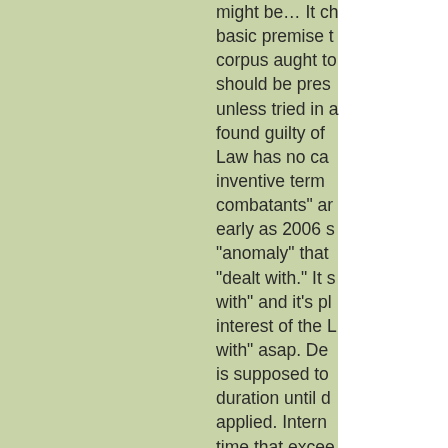might be… It challenges the basic premise that the habeas corpus aught to exist, that one should be presumed innocent unless tried in a court and found guilty of a crime. The Law has no categories for the inventive term "illegal combatants" and apparently as early as 2006 spotted this "anomaly" that needed to be "dealt with." It should "dealt with" and it's plainly in the interest of the US to "deal with" asap. Detention without charge is supposed to be for the duration until deemed no longer applied. Internationally, the time that exceeds that of a proven murderer's doing porridge is not serving justice. High time the Commissioner...